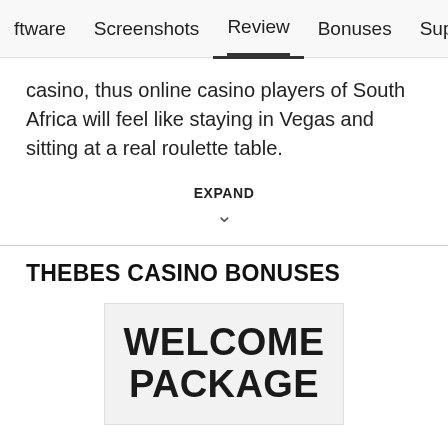ftware   Screenshots   Review   Bonuses   Support
casino, thus online casino players of South Africa will feel like staying in Vegas and sitting at a real roulette table.
EXPAND ∨
THEBES CASINO BONUSES
[Figure (other): Welcome Package promotional card with bold text on light grey background]